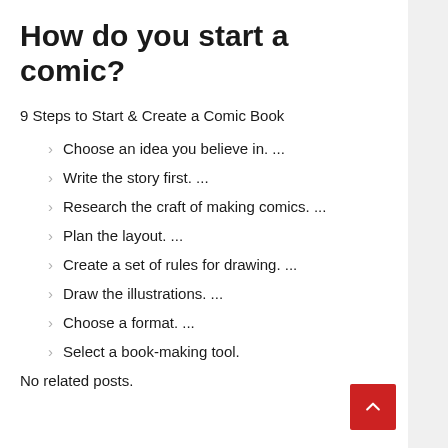How do you start a comic?
9 Steps to Start & Create a Comic Book
Choose an idea you believe in. ...
Write the story first. ...
Research the craft of making comics. ...
Plan the layout. ...
Create a set of rules for drawing. ...
Draw the illustrations. ...
Choose a format. ...
Select a book-making tool.
No related posts.